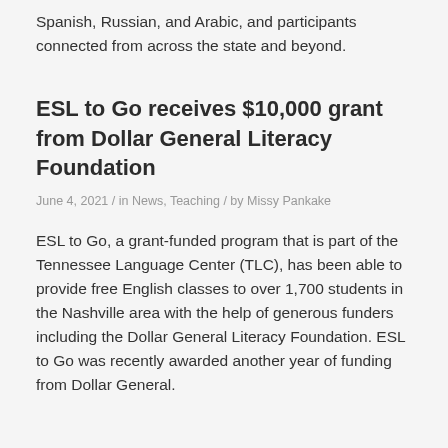Spanish, Russian, and Arabic, and participants connected from across the state and beyond.
ESL to Go receives $10,000 grant from Dollar General Literacy Foundation
June 4, 2021 / in News, Teaching / by Missy Pankake
ESL to Go, a grant-funded program that is part of the Tennessee Language Center (TLC), has been able to provide free English classes to over 1,700 students in the Nashville area with the help of generous funders including the Dollar General Literacy Foundation. ESL to Go was recently awarded another year of funding from Dollar General.